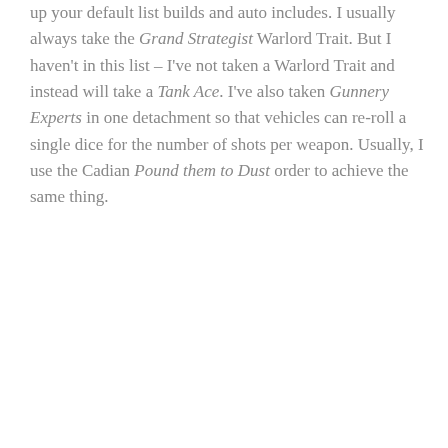up your default list builds and auto includes. I usually always take the Grand Strategist Warlord Trait. But I haven't in this list – I've not taken a Warlord Trait and instead will take a Tank Ace. I've also taken Gunnery Experts in one detachment so that vehicles can re-roll a single dice for the number of shots per weapon. Usually, I use the Cadian Pound them to Dust order to achieve the same thing.